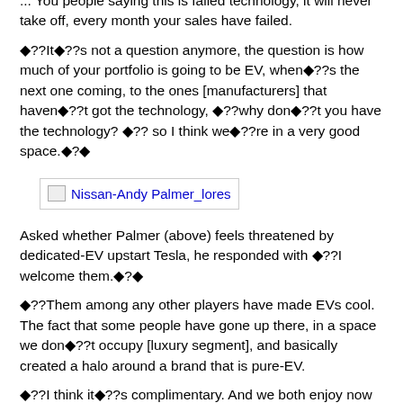... You people saying this is failed technology, it will never take off, every month your sales have failed.
◆??It◆??s not a question anymore, the question is how much of your portfolio is going to be EV, when◆??s the next one coming, to the ones [manufacturers] that haven◆??t got the technology, ◆??why don◆??t you have the technology? ◆?? so I think we◆??re in a very good space.◆?◆
[Figure (photo): Nissan-Andy Palmer_lores image (broken/placeholder)]
Asked whether Palmer (above) feels threatened by dedicated-EV upstart Tesla, he responded with ◆??I welcome them.◆?◆
◆??Them among any other players have made EVs cool. The fact that some people have gone up there, in a space we don◆??t occupy [luxury segment], and basically created a halo around a brand that is pure-EV.
◆??I think it◆??s complimentary. And we both enjoy now the ability to sell credits to other guys that didn◆??t move with us. So respect to Elon [Musk ◆?" founder].◆?◆